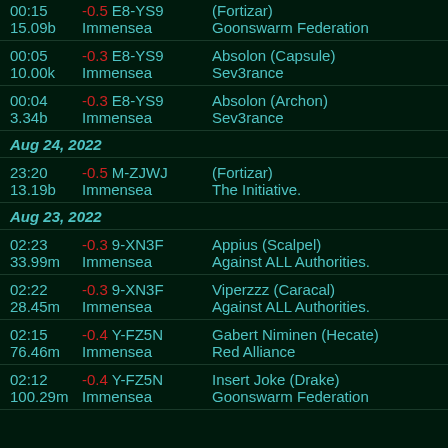00:15 -0.5 E8-YS9 (Fortizar) | 15.09b Immensea Goonswarm Federation
00:05 -0.3 E8-YS9 Absolon (Capsule) | 10.00k Immensea Sev3rance
00:04 -0.3 E8-YS9 Absolon (Archon) | 3.34b Immensea Sev3rance
Aug 24, 2022
23:20 -0.5 M-ZJWJ (Fortizar) | 13.19b Immensea The Initiative.
Aug 23, 2022
02:23 -0.3 9-XN3F Appius (Scalpel) | 33.99m Immensea Against ALL Authorities.
02:22 -0.3 9-XN3F Viperzzz (Caracal) | 28.45m Immensea Against ALL Authorities.
02:15 -0.4 Y-FZ5N Gabert Niminen (Hecate) | 76.46m Immensea Red Alliance
02:12 -0.4 Y-FZ5N Insert Joke (Drake) | 100.29m Immensea Goonswarm Federation